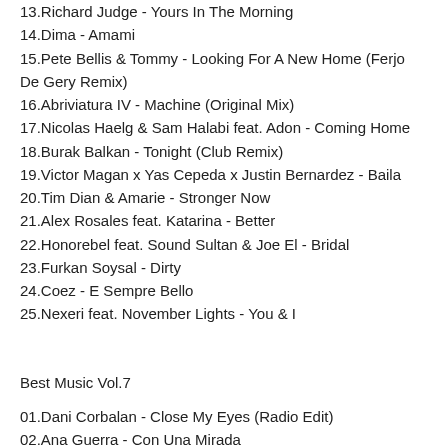13.Richard Judge - Yours In The Morning
14.Dima - Amami
15.Pete Bellis & Tommy - Looking For A New Home (Ferjo De Gery Remix)
16.Abriviatura IV - Machine (Original Mix)
17.Nicolas Haelg & Sam Halabi feat. Adon - Coming Home
18.Burak Balkan - Tonight (Club Remix)
19.Victor Magan x Yas Cepeda x Justin Bernardez - Baila
20.Tim Dian & Amarie - Stronger Now
21.Alex Rosales feat. Katarina - Better
22.Honorebel feat. Sound Sultan & Joe El - Bridal
23.Furkan Soysal - Dirty
24.Coez - E Sempre Bello
25.Nexeri feat. November Lights - You & I
Best Music Vol.7
01.Dani Corbalan - Close My Eyes (Radio Edit)
02.Ana Guerra - Con Una Mirada
03.Ivan Seagal - When You Go (Original Mix)